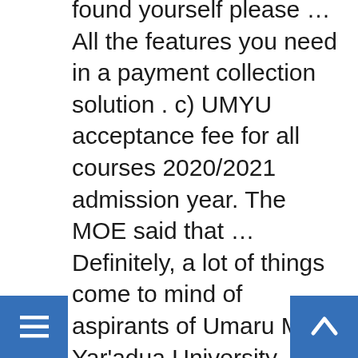found yourself please … All the features you need in a payment collection solution . c) UMYU acceptance fee for all courses 2020/2021 admission year. The MOE said that … Definitely, a lot of things come to mind of aspirants of Umaru Musa Yar'adua University (UMYU) about school fees but what you need to know about the school fees is coming very soon so you are advice to follow this website or book it. To join … Feel free to share this amazing post with your family and friends. (adsbygoogle = window.adsbygoogle || []).push({}); O3Schools Copyright (c) 2020. UMYU admission portal | latest news – Official Umaru Musa Yar'Adua University admission login page and registration portal/website – UMYU.edu.ng/admission portal login. I hope you have carefully read and understand the actual amount payable as UMYU school fees for the